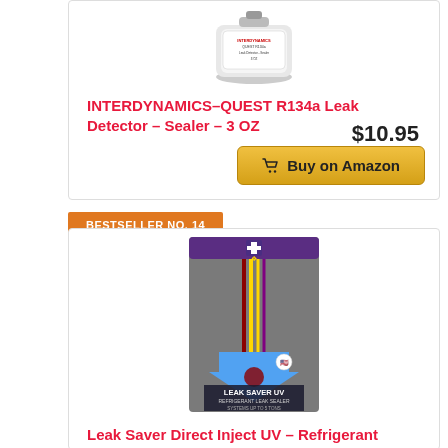[Figure (photo): Product image of INTERDYNAMICS-QUEST R134a Leak Detector Sealer 3 OZ canister]
INTERDYNAMICS-QUEST R134a Leak Detector – Sealer – 3 OZ
$10.95
Buy on Amazon
BESTSELLER NO. 14
[Figure (photo): Product image of Leak Saver Direct Inject UV Refrigerant Leak Sealer]
Leak Saver Direct Inject UV – Refrigerant